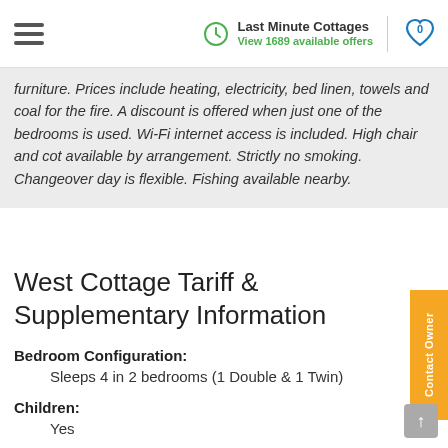Last Minute Cottages — View 1689 available offers
furniture. Prices include heating, electricity, bed linen, towels and coal for the fire. A discount is offered when just one of the bedrooms is used. Wi-Fi internet access is included. High chair and cot available by arrangement. Strictly no smoking. Changeover day is flexible. Fishing available nearby.
West Cottage Tariff & Supplementary Information
Bedroom Configuration: Sleeps 4 in 2 bedrooms (1 Double & 1 Twin)
Children: Yes
Dogs/Pets: 2 dogs welcome